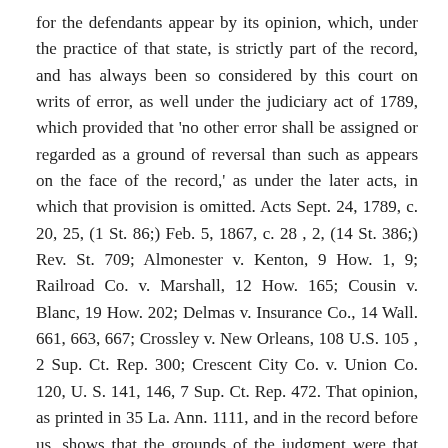for the defendants appear by its opinion, which, under the practice of that state, is strictly part of the record, and has always been so considered by this court on writs of error, as well under the judiciary act of 1789, which provided that 'no other error shall be assigned or regarded as a ground of reversal than such as appears on the face of the record,' as under the later acts, in which that provision is omitted. Acts Sept. 24, 1789, c. 20, 25, (1 St. 86;) Feb. 5, 1867, c. 28 , 2, (14 St. 386;) Rev. St. 709; Almonester v. Kenton, 9 How. 1, 9; Railroad Co. v. Marshall, 12 How. 165; Cousin v. Blanc, 19 How. 202; Delmas v. Insurance Co., 14 Wall. 661, 663, 667; Crossley v. New Orleans, 108 U.S. 105 , 2 Sup. Ct. Rep. 300; Crescent City Co. v. Union Co. 120, U. S. 141, 146, 7 Sup. Ct. Rep. 472. That opinion, as printed in 35 La. Ann. 1111, and in the record before us, shows that the grounds of the judgment were that the right conferred by the legislature of the state upon the Commercial Bank by its charter in 1833, and confirmed to the plaintiff by its charter in 1877, was the